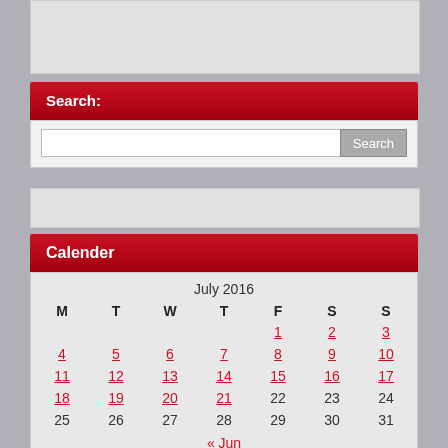[Figure (screenshot): Gray placeholder box at top of sidebar]
Search:
[Figure (screenshot): Search input box with Search button]
[Figure (screenshot): Gray placeholder bar in sidebar]
Calender
| M | T | W | T | F | S | S |
| --- | --- | --- | --- | --- | --- | --- |
|  |  |  |  | 1 | 2 | 3 |
| 4 | 5 | 6 | 7 | 8 | 9 | 10 |
| 11 | 12 | 13 | 14 | 15 | 16 | 17 |
| 18 | 19 | 20 | 21 | 22 | 23 | 24 |
| 25 | 26 | 27 | 28 | 29 | 30 | 31 |
« Jun